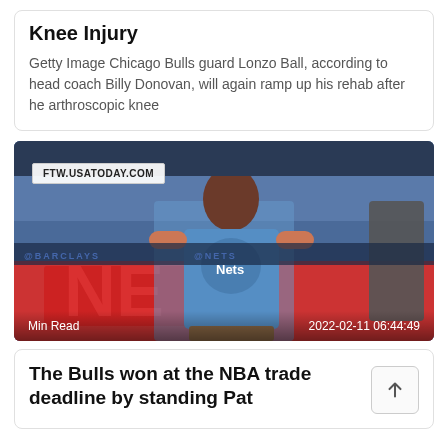Knee Injury
Getty Image Chicago Bulls guard Lonzo Ball, according to head coach Billy Donovan, will again ramp up his rehab after he arthroscopic knee
[Figure (photo): Photo of a basketball player wearing a Brooklyn Nets blue jersey, with FTW.USATODAY.COM watermark, Min Read label, and timestamp 2022-02-11 06:44:49]
The Bulls won at the NBA trade deadline by standing Pat